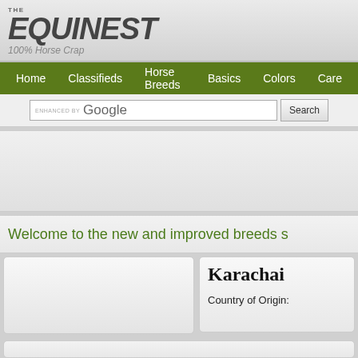THE EQUINEST — 100% Horse Crap
Home   Classifieds   Horse Breeds   Basics   Colors   Care
[Figure (screenshot): Google custom search bar with ENHANCED BY Google label and Search button]
[Figure (screenshot): Advertisement/banner area (gray placeholder)]
Welcome to the new and improved breeds s
Karachai
Country of Origin: